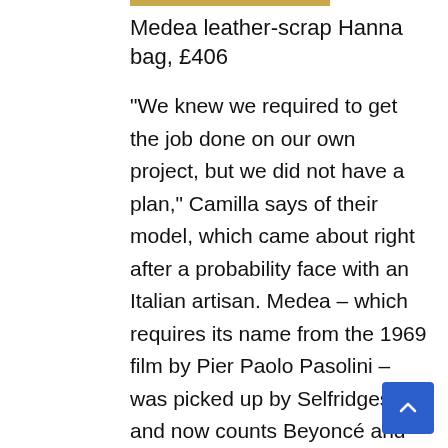Medea leather-scrap Hanna bag, £406
“We knew we required to get the job done on our own project, but we did not have a plan,” Camilla says of their model, which came about right after a probability face with an Italian artisan. Medea – which requires its name from the 1969 film by Pier Paolo Pasolini – was picked up by Selfridges and now counts Beyoncé and Gigi Hadid among its followers. The simplicity of its signature design and style has served as a blank canvas for art-earth provocateurs far too, with hit collaborations with Judith Bernstein and photographer Nan Goldin. “We experienced a sturdy local community of artists and musicians about us who absolutely assisted us get discovered,” Giulia